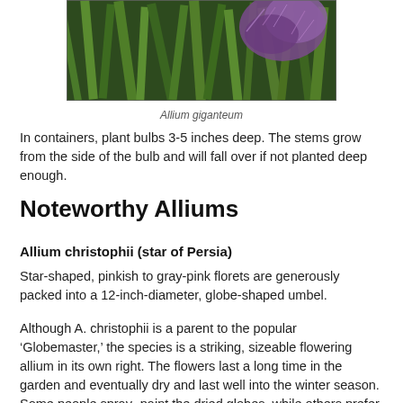[Figure (photo): Close-up photograph of Allium giganteum plant showing green stems and purple flower clusters]
Allium giganteum
In containers, plant bulbs 3-5 inches deep. The stems grow from the side of the bulb and will fall over if not planted deep enough.
Noteworthy Alliums
Allium christophii (star of Persia)
Star-shaped, pinkish to gray-pink florets are generously packed into a 12-inch-diameter, globe-shaped umbel.
Although A. christophii is a parent to the popular ‘Globemaster,’ the species is a striking, sizeable flowering allium in its own right. The flowers last a long time in the garden and eventually dry and last well into the winter season. Some people spray- paint the dried globes, while others prefer au natural.